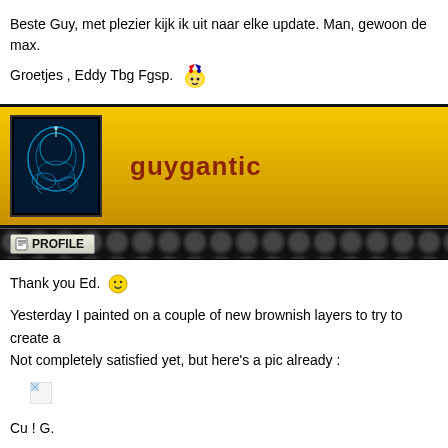Beste Guy, met plezier kijk ik uit naar elke update. Man, gewoon de max.
Groetjes , Eddy Tbg Fgsp.
[Figure (screenshot): Profile banner with guygantic username and x-ray skull avatar on gold/yellow background]
PROFILE
Thank you Ed.
Yesterday I painted on a couple of new brownish layers to try to create a... Not completely satisfied yet, but here's a pic already :
[Figure (photo): Broken/missing image placeholder]
Cu ! G.